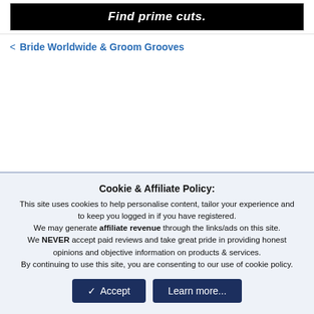[Figure (screenshot): Black banner with white italic bold text 'Find prime cuts.']
< Bride Worldwide & Groom Grooves
Cookie & Affiliate Policy: This site uses cookies to help personalise content, tailor your experience and to keep you logged in if you have registered. We may generate affiliate revenue through the links/ads on this site. We NEVER accept paid reviews and take great pride in providing honest opinions and objective information on products & services. By continuing to use this site, you are consenting to our use of cookie policy.